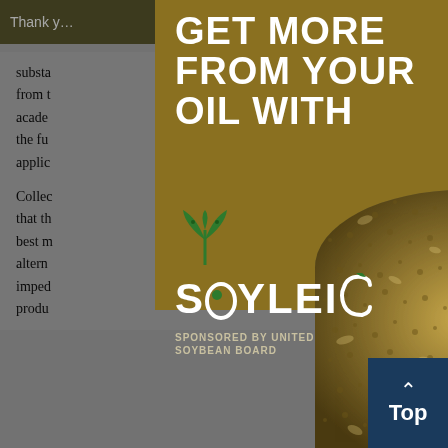Thank you… tools you
substa… val from t… ng the acader… ns of the fu… applic…
Collec… ests that th… s is at best n… ganic altern… imped… produ…
[Figure (infographic): Modal popup advertisement: gold background with large white bold uppercase text 'GET MORE FROM YOUR OIL WITH', Soyleic logo (green plant/leaf icon above 'SOYLEIC' wordmark with a green leaf as the 'I'), 'SPONSORED BY UNITED SOYBEAN BOARD' text below logo, diagonal grain/wheat close-up photo in bottom right, close (X) button top right]
GET MORE FROM YOUR OIL WITH
SPONSORED BY UNITED SOYBEAN BOARD